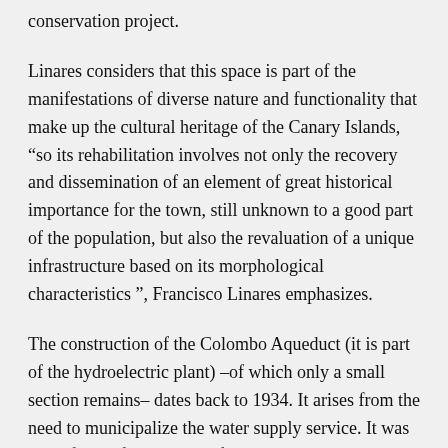conservation project.
Linares considers that this space is part of the manifestations of diverse nature and functionality that make up the cultural heritage of the Canary Islands, “so its rehabilitation involves not only the recovery and dissemination of an element of great historical importance for the town, still unknown to a good part of the population, but also the revaluation of a unique infrastructure based on its morphological characteristics ”, Francisco Linares emphasizes.
The construction of the Colombo Aqueduct (it is part of the hydroelectric plant) –of which only a small section remains– dates back to 1934. It arises from the need to municipalize the water supply service. It was part of one of the phases of